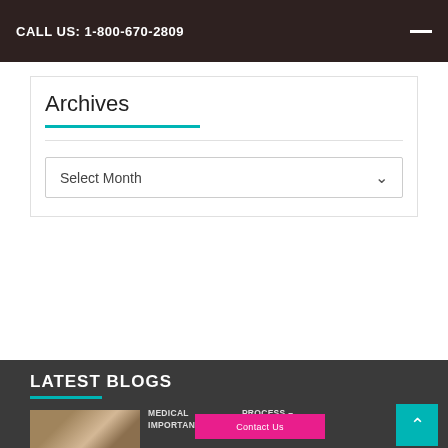CALL US: 1-800-670-2809
Archives
Select Month
LATEST BLOGS
[Figure (photo): Keyboard and documents on a desk]
MEDICAL PROCESS – IMPORTANT FAQS
Contact Us